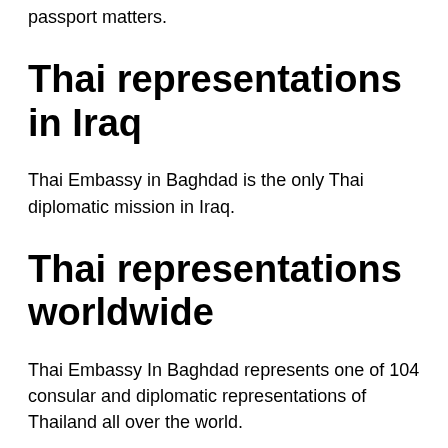passport matters.
Thai representations in Iraq
Thai Embassy in Baghdad is the only Thai diplomatic mission in Iraq.
Thai representations worldwide
Thai Embassy In Baghdad represents one of 104 consular and diplomatic representations of Thailand all over the world.